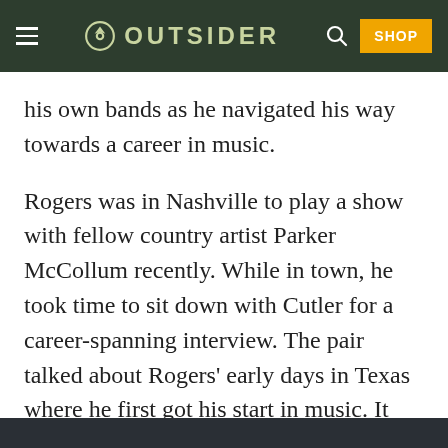OUTSIDER
his own bands as he navigated his way towards a career in music.
Rogers was in Nashville to play a show with fellow country artist Parker McCollum recently. While in town, he took time to sit down with Cutler for a career-spanning interview. The pair talked about Rogers’ early days in Texas where he first got his start in music. It took the singer a while to get picked up by any country radio stations early in his career, but